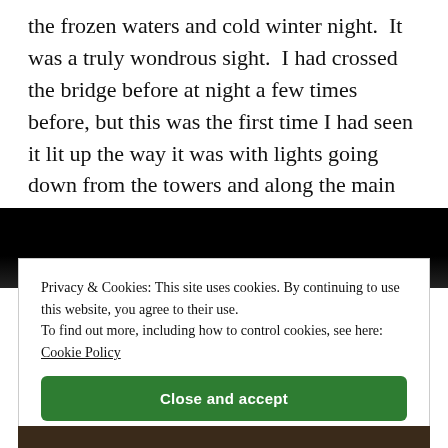the frozen waters and cold winter night. It was a truly wondrous sight. I had crossed the bridge before at night a few times before, but this was the first time I had seen it lit up the way it was with lights going down from the towers and along the main cables. The dark sky, snow covered ground, and semi-ice covered water only added to the magic.
[Figure (screenshot): A cookie consent overlay dialog on a dark background showing website cookie policy notice with a green 'Close and accept' button, over what appears to be a nighttime photo of a bridge.]